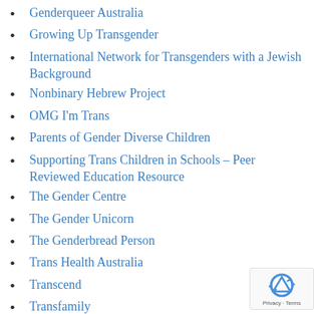Genderqueer Australia
Growing Up Transgender
International Network for Transgenders with a Jewish Background
Nonbinary Hebrew Project
OMG I'm Trans
Parents of Gender Diverse Children
Supporting Trans Children in Schools – Peer Reviewed Education Resource
The Gender Centre
The Gender Unicorn
The Genderbread Person
Trans Health Australia
Transcend
Transfamily
Transfemme
Transgender Historian…